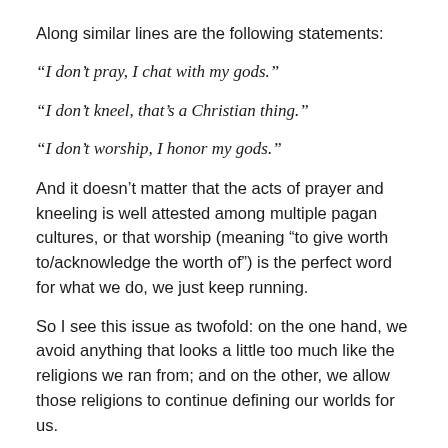Along similar lines are the following statements:
“I don’t pray, I chat with my gods.”
“I don’t kneel, that’s a Christian thing.”
“I don’t worship, I honor my gods.”
And it doesn’t matter that the acts of prayer and kneeling is well attested among multiple pagan cultures, or that worship (meaning “to give worth to/acknowledge the worth of”) is the perfect word for what we do, we just keep running.
So I see this issue as twofold: on the one hand, we avoid anything that looks a little too much like the religions we ran from; and on the other, we allow those religions to continue defining our worlds for us.